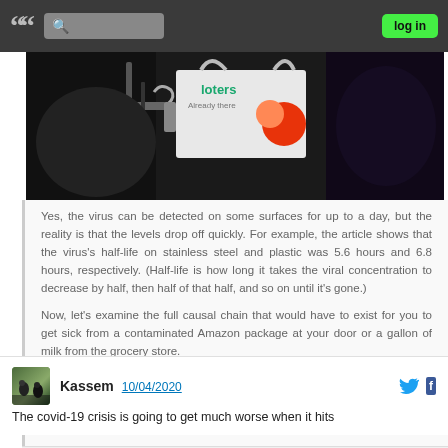" "  [search]  log in
[Figure (photo): Photo of a person carrying a Loters grocery bag, dark background with figures]
Yes, the virus can be detected on some surfaces for up to a day, but the reality is that the levels drop off quickly. For example, the article shows that the virus's half-life on stainless steel and plastic was 5.6 hours and 6.8 hours, respectively. (Half-life is how long it takes the viral concentration to decrease by half, then half of that half, and so on until it's gone.)
Now, let's examine the full causal chain that would have to exist for you to get sick from a contaminated Amazon package at your door or a gallon of milk from the grocery store.
In the case of the Amazon package, the driver would have to be infected and still working despite limited symptoms. (If they were very ill, they would most likely be home; if they had no
@kassem  CC BY-NC-SA
Kassem   10/04/2020
The covid-19 crisis is going to get much worse when it hits